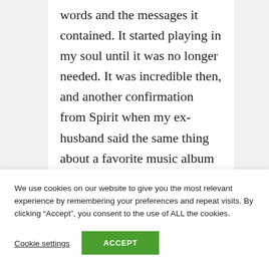words and the messages it contained. It started playing in my soul until it was no longer needed. It was incredible then, and another confirmation from Spirit when my ex-husband said the same thing about a favorite music album of his. To listen to the CD, I borrowed it from my
We use cookies on our website to give you the most relevant experience by remembering your preferences and repeat visits. By clicking “Accept”, you consent to the use of ALL the cookies.
Cookie settings
ACCEPT